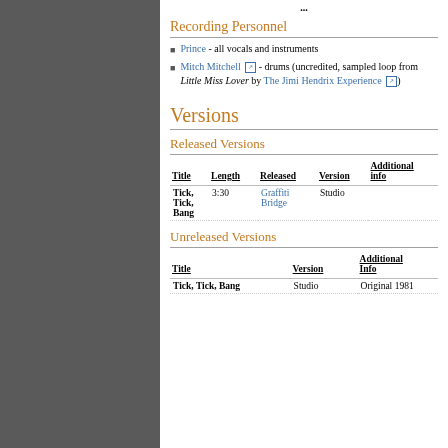Recording Personnel
Prince - all vocals and instruments
Mitch Mitchell [ext] - drums (uncredited, sampled loop from Little Miss Lover by The Jimi Hendrix Experience [ext])
Versions
Released Versions
| Title | Length | Released | Version | Additional info |
| --- | --- | --- | --- | --- |
| Tick, Tick, Bang | 3:30 | Graffiti Bridge | Studio |  |
Unreleased Versions
| Title | Version | Additional Info |
| --- | --- | --- |
| Tick, Tick, Bang | Studio | Original 1981 |